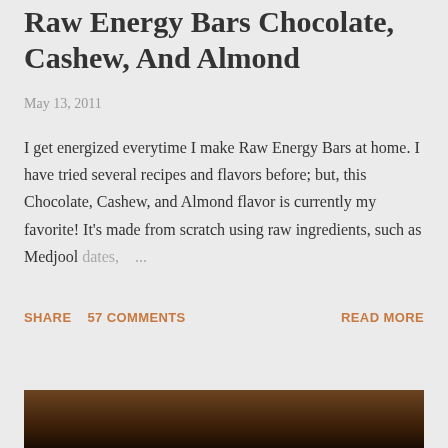Raw Energy Bars Chocolate, Cashew, And Almond
May 13, 2011
I get energized everytime I make Raw Energy Bars at home. I have tried several recipes and flavors before; but, this Chocolate, Cashew, and Almond flavor is currently my favorite! It's made from scratch using raw ingredients, such as Medjool dates, ...
SHARE   57 COMMENTS   READ MORE
[Figure (photo): Photo of raw energy bars on a wooden surface]